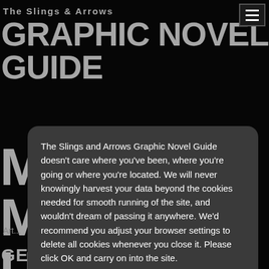The Slings & Arrows
GRAPHIC NOVEL GUIDE
The Slings and Arrows Graphic Novel Guide doesn't care where you've been, where you're going or where you're located. We will never knowingly harvest your data beyond the cookies needed for smooth running of the site, and wouldn't dream of passing it anywhere. We'd recommend you adjust your browser settings to delete all cookies whenever you close it. Please click OK and carry on into the site.
OK
Art...
GEORGE PÉREZ